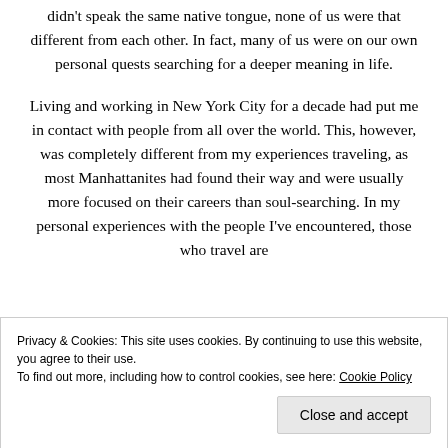didn't speak the same native tongue, none of us were that different from each other. In fact, many of us were on our own personal quests searching for a deeper meaning in life.
Living and working in New York City for a decade had put me in contact with people from all over the world. This, however, was completely different from my experiences traveling, as most Manhattanites had found their way and were usually more focused on their careers than soul-searching. In my personal experiences with the people I've encountered, those who travel are
Privacy & Cookies: This site uses cookies. By continuing to use this website, you agree to their use. To find out more, including how to control cookies, see here: Cookie Policy
Close and accept